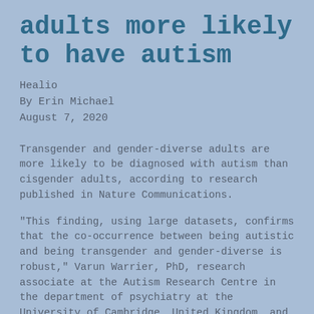adults more likely to have autism
Healio
By Erin Michael
August 7, 2020
Transgender and gender-diverse adults are more likely to be diagnosed with autism than cisgender adults, according to research published in Nature Communications.
"This finding, using large datasets, confirms that the co-occurrence between being autistic and being transgender and gender-diverse is robust," Varun Warrier, PhD, research associate at the Autism Research Centre in the department of psychiatry at the University of Cambridge, United Kingdom, and colleagues wrote. "We now need to understand the significance of this co-